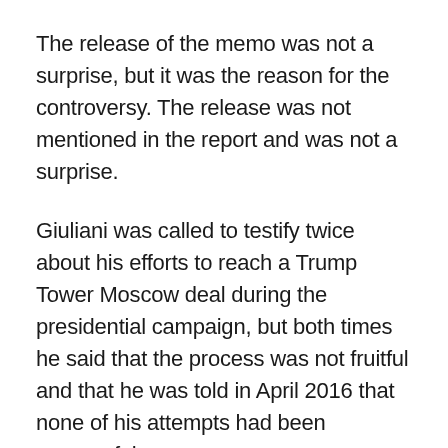The release of the memo was not a surprise, but it was the reason for the controversy. The release was not mentioned in the report and was not a surprise.
Giuliani was called to testify twice about his efforts to reach a Trump Tower Moscow deal during the presidential campaign, but both times he said that the process was not fruitful and that he was told in April 2016 that none of his attempts had been successful.
“Everybody’s going to argue that we didn’t get anything done, just as they